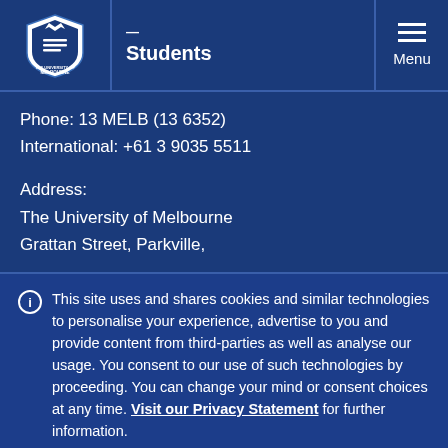Students | Menu
Phone: 13 MELB (13 6352)
International: +61 3 9035 5511
Address:
The University of Melbourne
Grattan Street, Parkville,
This site uses and shares cookies and similar technologies to personalise your experience, advertise to you and provide content from third-parties as well as analyse our usage. You consent to our use of such technologies by proceeding. You can change your mind or consent choices at any time. Visit our Privacy Statement for further information.
Accept cookies
Cookie Preferences